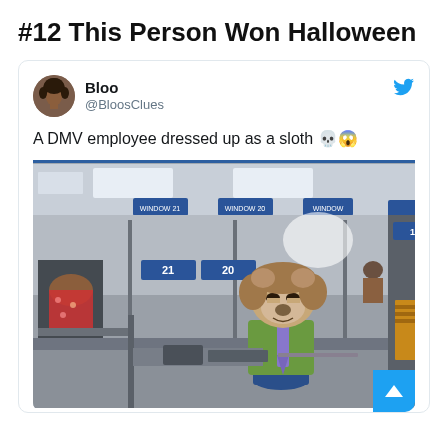#12 This Person Won Halloween
[Figure (screenshot): A tweet by user 'Bloo' (@BloosClues) with text: 'A DMV employee dressed up as a sloth 💀😱', showing a photo of a DMV office where an employee wearing a sloth costume/mask and green shirt is seated at a desk working, with other employees and office cubicles visible in the background.]